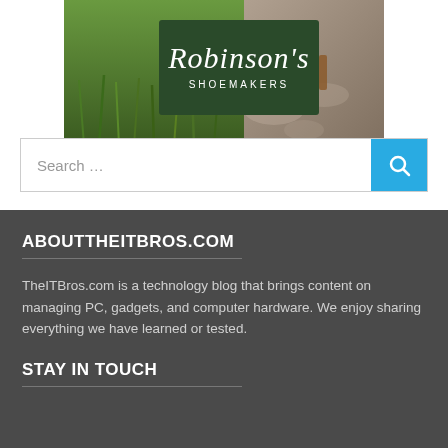[Figure (illustration): Robinson's Shoemakers advertisement image with grass and stone background, featuring a dark green sign with white italic text reading Robinson's SHOEMAKERS]
[Figure (screenshot): Search bar with placeholder text 'Search ...' and a blue search button with magnifying glass icon on the right]
ABOUTTHEITBROS.COM
TheITBros.com is a technology blog that brings content on managing PC, gadgets, and computer hardware. We enjoy sharing everything we have learned or tested.
STAY IN TOUCH